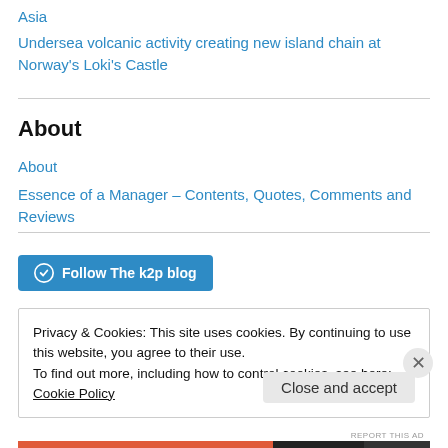Asia
Undersea volcanic activity creating new island chain at Norway's Loki's Castle
About
About
Essence of a Manager – Contents, Quotes, Comments and Reviews
Follow The k2p blog
Privacy & Cookies: This site uses cookies. By continuing to use this website, you agree to their use.
To find out more, including how to control cookies, see here: Cookie Policy
Close and accept